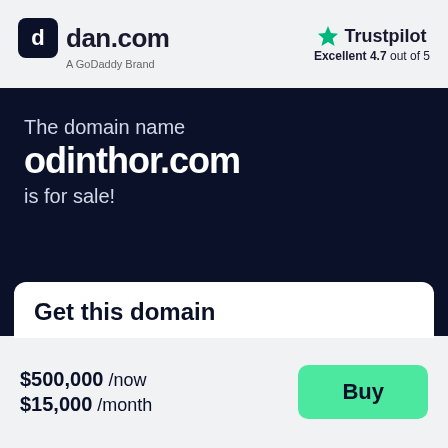[Figure (logo): dan.com logo with GoDaddy Brand tagline and Trustpilot Excellent 4.7 out of 5 rating]
The domain name odinthor.com is for sale!
Get this domain
$500,000 /now $15,000 /month
Buy